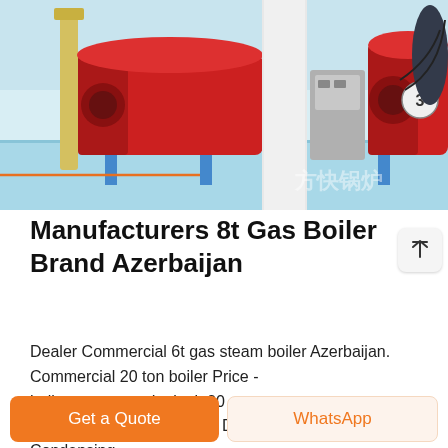[Figure (photo): Industrial boiler room with multiple large red gas boilers on a light blue floor, yellow pipes visible, Chinese watermark text in bottom right corner]
Manufacturers 8t Gas Boiler Brand Azerbaijan
Dealer Commercial 6t gas steam boiler Azerbaijan. Commercial 20 ton boiler Price - halloweenraamsdonk.nl. 20 Ton Vacuum Water Boilers Dealer - 50 Bhp Condensing Steam Boiler SupplierHot Sale Fire . commercial 4 ton gas